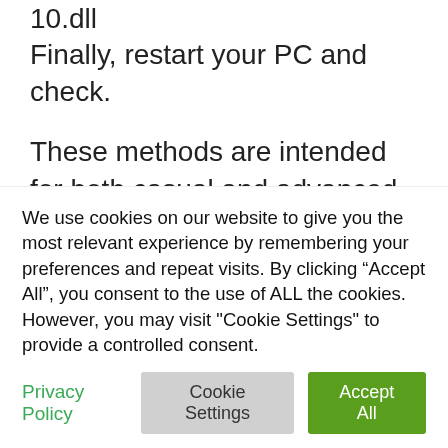10.dll
Finally, restart your PC and check.
These methods are intended for both casual and advanced users. Use our recommendations completely free of charge!
Good luck!
We use cookies on our website to give you the most relevant experience by remembering your preferences and repeat visits. By clicking “Accept All”, you consent to the use of ALL the cookies. However, you may visit "Cookie Settings" to provide a controlled consent.
Privacy Policy
Cookie Settings
Accept All